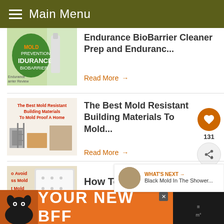Main Menu
Endurance BioBarrier Cleaner Prep and Enduranc...
Read More →
The Best Mold Resistant Building Materials To Mold...
Read More →
131
WHAT'S NEXT → Black Mold In The Shower...
How To Avoid Mattress Mold + The
YOUR NEW BFF